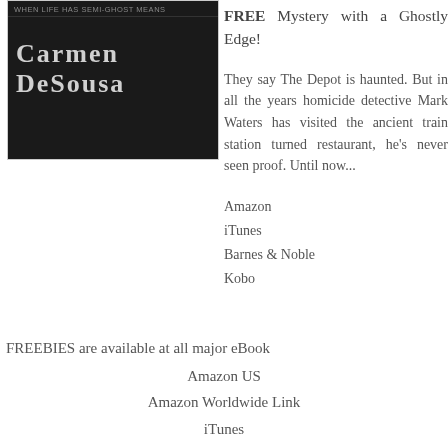[Figure (illustration): Book cover image for Carmen DeSousa with dark background. Top bar reads 'WHEN LIFE HAS SEMI-GHOST MEANS' in small text. Author name 'Carmen DeSousa' in large light serif font on dark background.]
FREE Mystery with a Ghostly Edge!
They say The Depot is haunted. But in all the years homicide detective Mark Waters has visited the ancient train station turned restaurant, he's never seen proof. Until now...
Amazon
iTunes
Barnes & Noble
Kobo
FREEBIES are available at all major eBook
Amazon US
Amazon Worldwide Link
iTunes